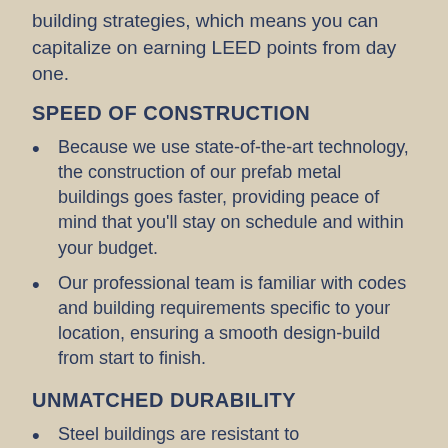building strategies, which means you can capitalize on earning LEED points from day one.
SPEED OF CONSTRUCTION
Because we use state-of-the-art technology, the construction of our prefab metal buildings goes faster, providing peace of mind that you'll stay on schedule and within your budget.
Our professional team is familiar with codes and building requirements specific to your location, ensuring a smooth design-build from start to finish.
UNMATCHED DURABILITY
Steel buildings are resistant to